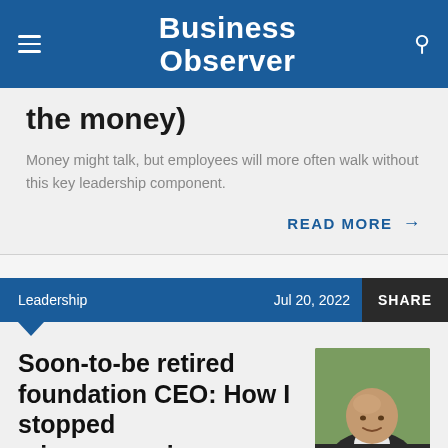Business Observer
the money)
Money might talk, but employees will more often walk without this key leadership component.
READ MORE →
Leadership   Jul 20, 2022   SHARE
Soon-to-be retired foundation CEO: How I stopped micromanaging
[Figure (photo): Headshot of a bald man in a dark suit and white shirt, smiling, with greenery in background]